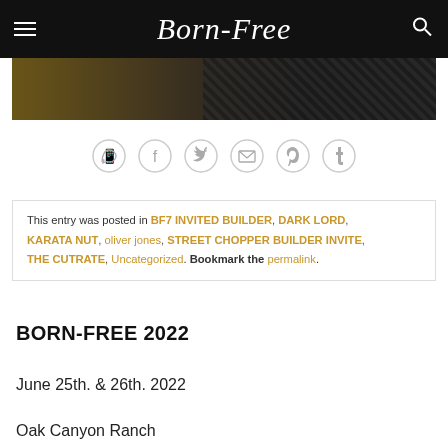Born-Free
[Figure (photo): Partial photo of a motorcycle or event, dark background with textured pattern]
[Figure (infographic): Row of 6 social sharing icon circles: WhatsApp, Facebook, Twitter, Email, Pinterest, Tumblr]
This entry was posted in BF7 INVITED BUILDER, DARK LORD, KARATA NUT, oliver jones, STREET CHOPPER BUILDER INVITE, THE CUTRATE, Uncategorized. Bookmark the permalink.
BORN-FREE 2022
June 25th. & 26th. 2022
Oak Canyon Ranch